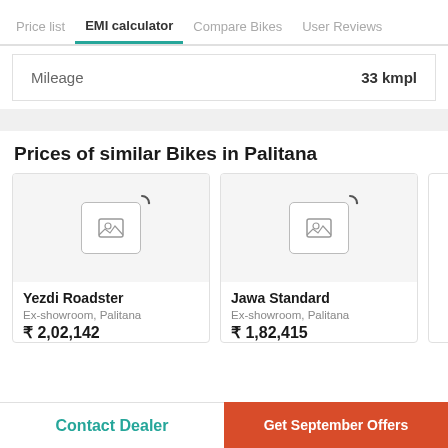Price list | EMI calculator | Compare Bikes | User Reviews
| Mileage |  |
| --- | --- |
| Mileage | 33 kmpl |
Prices of similar Bikes in Palitana
[Figure (screenshot): Bike card for Yezdi Roadster, Ex-showroom Palitana, ₹2,02,142 with loading image placeholder]
[Figure (screenshot): Bike card for Jawa Standard, Ex-showroom Palitana, ₹1,82,415 with loading image placeholder]
Contact Dealer | Get September Offers